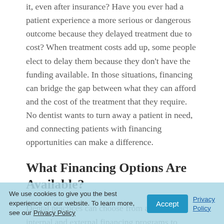it, even after insurance? Have you ever had a patient experience a more serious or dangerous outcome because they delayed treatment due to cost? When treatment costs add up, some people elect to delay them because they don't have the funding available. In those situations, financing can bridge the gap between what they can afford and the cost of the treatment that they require. No dentist wants to turn away a patient in need, and connecting patients with financing opportunities can make a difference.
What Financing Options Are Available?
Dental practices can choose from a variety of internal and external financing programs to allow patients access to the funds they need to have their procedures performed. Some dental practices offer internal financing, but this puts the practice at risk, as you are the lender. You should not extend